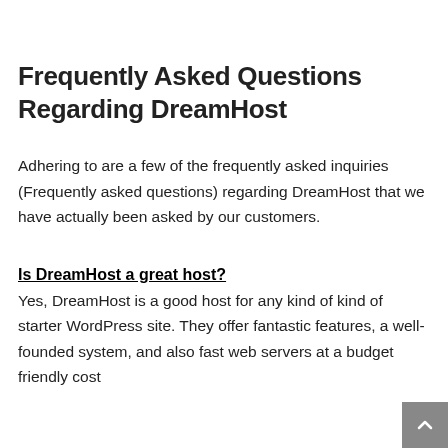Frequently Asked Questions Regarding DreamHost
Adhering to are a few of the frequently asked inquiries (Frequently asked questions) regarding DreamHost that we have actually been asked by our customers.
Is DreamHost a great host?
Yes, DreamHost is a good host for any kind of kind of starter WordPress site. They offer fantastic features, a well-founded system, and also fast web servers at a budget friendly cost